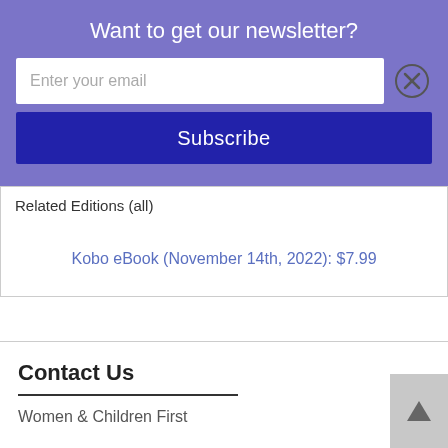Want to get our newsletter?
Enter your email
Subscribe
Related Editions (all)
Kobo eBook (November 14th, 2022): $7.99
Contact Us
Women & Children First